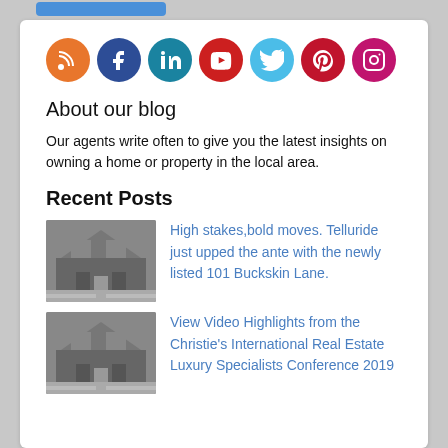[Figure (other): Row of seven social media icon circles: RSS (orange), Facebook (dark blue), LinkedIn (teal), YouTube (red), Twitter (light blue), Pinterest (dark red), Instagram (magenta)]
About our blog
Our agents write often to give you the latest insights on owning a home or property in the local area.
Recent Posts
[Figure (photo): Grayscale photo of a large house exterior]
High stakes,bold moves. Telluride just upped the ante with the newly listed 101 Buckskin Lane.
[Figure (photo): Grayscale photo of a large house exterior]
View Video Highlights from the Christie's International Real Estate Luxury Specialists Conference 2019